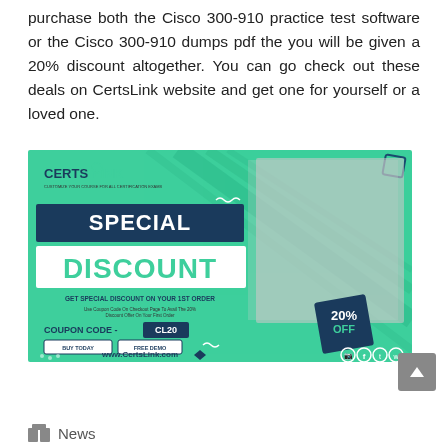purchase both the Cisco 300-910 practice test software or the Cisco 300-910 dumps pdf the you will be given a 20% discount altogether. You can go check out these deals on CertsLink website and get one for yourself or a loved one.
[Figure (infographic): CertsLink promotional banner with green background. Shows 'SPECIAL DISCOUNT' heading, 'GET SPECIAL DISCOUNT ON YOUR 1ST ORDER', coupon code CL20, 20% OFF badge, BUY TODAY and FREE DEMO buttons, www.CertsLink.com URL, and a businessman in a suit giving thumbs up.]
News